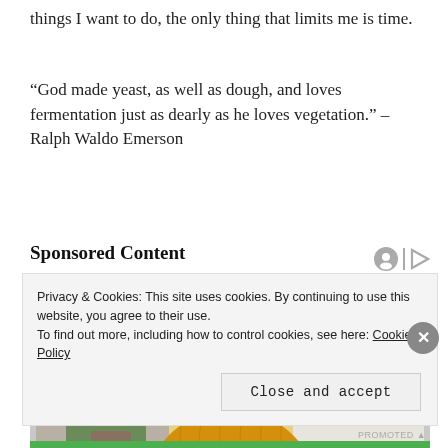things I want to do, the only thing that limits me is time.
“God made yeast, as well as dough, and loves fermentation just as dearly as he loves vegetation.” – Ralph Waldo Emerson
Sponsored Content
[Figure (photo): Woman with blonde hair wearing yellow sweater, looking downward, seated indoors with plant in background]
Privacy & Cookies: This site uses cookies. By continuing to use this website, you agree to their use.
To find out more, including how to control cookies, see here: Cookie Policy
Close and accept